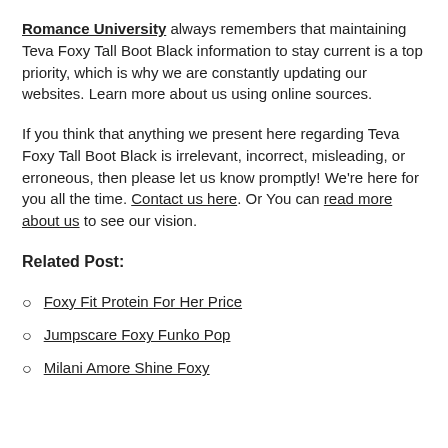Romance University always remembers that maintaining Teva Foxy Tall Boot Black information to stay current is a top priority, which is why we are constantly updating our websites. Learn more about us using online sources.
If you think that anything we present here regarding Teva Foxy Tall Boot Black is irrelevant, incorrect, misleading, or erroneous, then please let us know promptly! We're here for you all the time. Contact us here. Or You can read more about us to see our vision.
Related Post:
Foxy Fit Protein For Her Price
Jumpscare Foxy Funko Pop
Milani Amore Shine Foxy